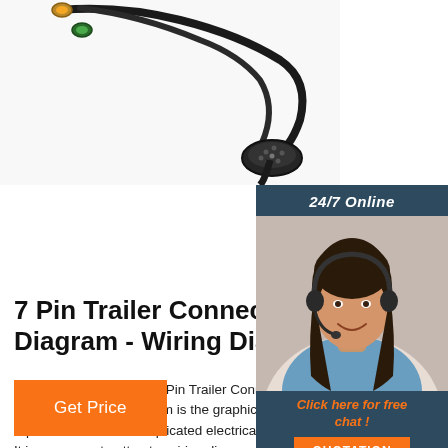[Figure (photo): Photo of a 7-pin trailer connector wiring cable with multiple connectors on a white background]
[Figure (photo): Customer service representative woman wearing headset, smiling, with 24/7 Online chat widget overlay showing orange 'Click here for free chat!' text and QUOTATION button]
7 Pin Trailer Connector Diagram - Wiring Diagram
2021-9-23u2002·u20027 Pin Trailer Connector Diagram – Wiring Diagram is the graphical representation of a complicated electrical circuit. It is very easy to attract a wiring diagram; you simply require to have a excellent understanding on various types of wiring and their purposes.
Get Price